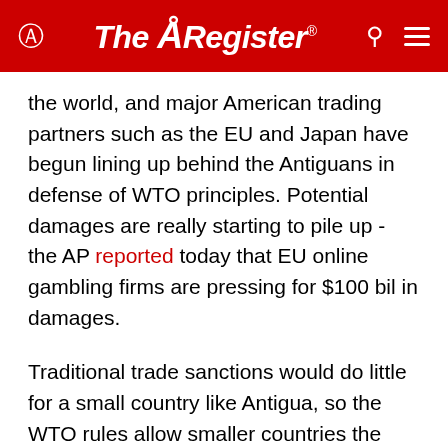The Register
the world, and major American trading partners such as the EU and Japan have begun lining up behind the Antiguans in defense of WTO principles. Potential damages are really starting to pile up - the AP reported today that EU online gambling firms are pressing for $100 bil in damages.
Traditional trade sanctions would do little for a small country like Antigua, so the WTO rules allow smaller countries the option of suspending their own WTO commitments, and the Antiguans have been threatening to suspend their intellectual property obligations to the US. That in turn ultimately caught the attention of powerful Silicon Valley and Hollywood interests, and